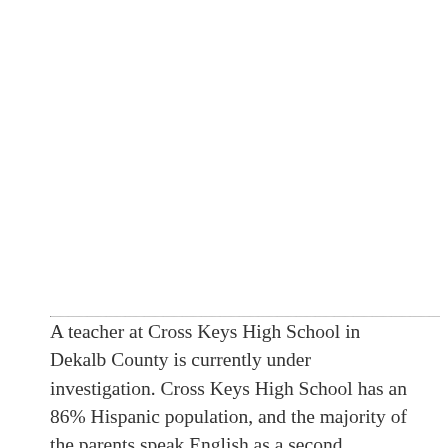A teacher at Cross Keys High School in Dekalb County is currently under investigation. Cross Keys High School has an 86% Hispanic population, and the majority of the parents speak English as a second language. According to the AJC, a teacher